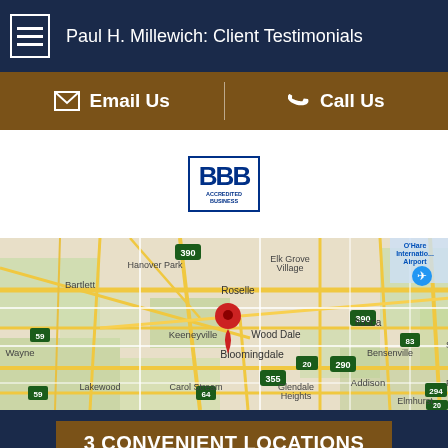Paul H. Millewich: Client Testimonials
Email Us | Call Us
[Figure (logo): BBB Accredited Business badge with blue border and lettering]
[Figure (map): Google Maps view showing Bloomingdale, IL area with red map pin marker. Surrounding areas include Roselle, Keeneyville, Bartlett, Hanover Park, Itasca, Wood Dale, Bensenville, Addison, Carol Stream, Glendale Heights, Elmhurst, Lakewood, Wayne. Highways 390, 290, 355, 83, 20, 59, 64 visible. O'Hare International Airport shown in upper right.]
3 CONVENIENT LOCATIONS
LIVE CHAT | TEXT US